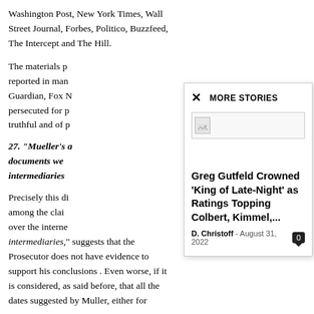Washington Post, New York Times, Wall Street Journal, Forbes, Politico, Buzzfeed, The Intercept and The Hill.
The materials p[...] reported in man[...] Guardian, Fox N[...] persecuted for p[...] truthful and of p[...]
27. “Mueller’s a[...] documents we[...] intermediaries[...]
Precisely this di[...] among the clai[...] over the interne[...] intermediaries,” [...] evidence to support his conclusions . Even worse, if it is considered, as said before, that all the dates suggested by Muller, either for
[Figure (screenshot): Modal popup overlay titled 'MORE STORIES' with a broken image placeholder and a story card: 'Greg Gutfeld Crowned ‘King of Late-Night’ as Ratings Topping Colbert, Kimmel,...' by D. Christoff, August 31, 2022, with a comment count badge showing 0.]